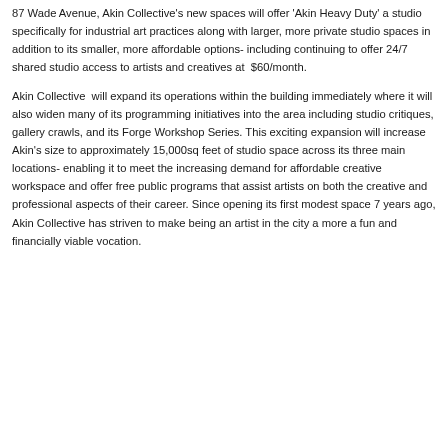87 Wade Avenue, Akin Collective's new spaces will offer 'Akin Heavy Duty' a studio specifically for industrial art practices along with larger, more private studio spaces in addition to its smaller, more affordable options- including continuing to offer 24/7 shared studio access to artists and creatives at $60/month.
Akin Collective will expand its operations within the building immediately where it will also widen many of its programming initiatives into the area including studio critiques, gallery crawls, and its Forge Workshop Series. This exciting expansion will increase Akin's size to approximately 15,000sq feet of studio space across its three main locations- enabling it to meet the increasing demand for affordable creative workspace and offer free public programs that assist artists on both the creative and professional aspects of their career. Since opening its first modest space 7 years ago, Akin Collective has striven to make being an artist in the city a more a fun and financially viable vocation.